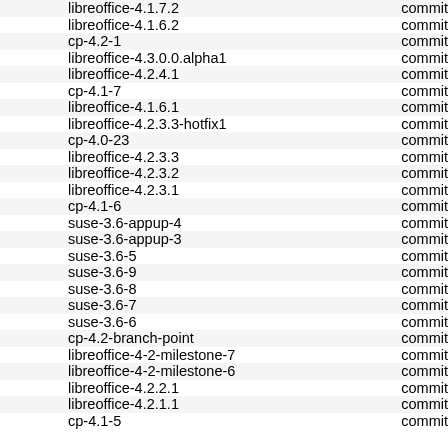| name | commit |
| --- | --- |
| libreoffice-4.1.7.2 | commit |
| libreoffice-4.1.6.2 | commit |
| cp-4.2-1 | commit |
| libreoffice-4.3.0.0.alpha1 | commit |
| libreoffice-4.2.4.1 | commit |
| cp-4.1-7 | commit |
| libreoffice-4.1.6.1 | commit |
| libreoffice-4.2.3.3-hotfix1 | commit |
| cp-4.0-23 | commit |
| libreoffice-4.2.3.3 | commit |
| libreoffice-4.2.3.2 | commit |
| libreoffice-4.2.3.1 | commit |
| cp-4.1-6 | commit |
| suse-3.6-appup-4 | commit |
| suse-3.6-appup-3 | commit |
| suse-3.6-5 | commit |
| suse-3.6-9 | commit |
| suse-3.6-8 | commit |
| suse-3.6-7 | commit |
| suse-3.6-6 | commit |
| cp-4.2-branch-point | commit |
| libreoffice-4-2-milestone-7 | commit |
| libreoffice-4-2-milestone-6 | commit |
| libreoffice-4.2.2.1 | commit |
| libreoffice-4.2.1.1 | commit |
| cp-4.1-5 | commit |